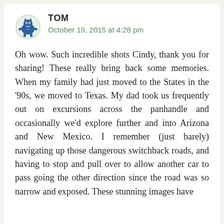TOM
October 19, 2015 at 4:28 pm
Oh wow. Such incredible shots Cindy, thank you for sharing! These really bring back some memories. When my family had just moved to the States in the ’90s, we moved to Texas. My dad took us frequently out on excursions across the panhandle and occasionally we’d explore further and into Arizona and New Mexico. I remember (just barely) navigating up those dangerous switchback roads, and having to stop and pull over to allow another car to pass going the other direction since the road was so narrow and exposed. These stunning images have